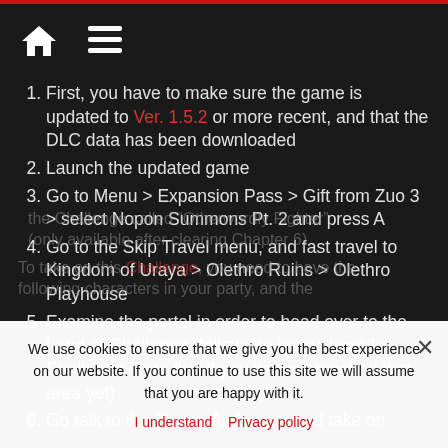Navigation bar with home icon and menu icon
1. First, you have to make sure the game is updated to Ver. 1.5.2 or more recent, and that the DLC data has been downloaded
2. Launch the updated game
3. Go to Menu > Expansion Pass > Gift from Zuo 3 > select Nopon Summons Pt. 2 and press A
4. Go to the Skip Travel menu, and fast travel to Kingdom of Uraya > Olethro Ruins > Olethro Playhouse
5. Examine the portal in order to head over to the Land of Challenge (follow the instructions for Shulk and Fiora first if you haven't reached that area yet)
6. Go talk to the Nopon Archsage, and take on the Challenge called “Otherworldly Fighter” (only available after clearing Chapter 6)
To take on this Challenge, you need to have the following characters in your party, and the
We use cookies to ensure that we give you the best experience on our website. If you continue to use this site we will assume that you are happy with it.
I understand | Privacy policy